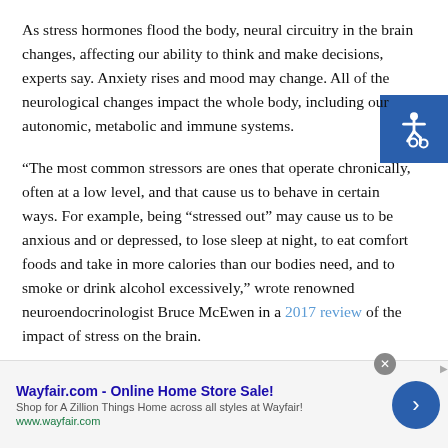As stress hormones flood the body, neural circuitry in the brain changes, affecting our ability to think and make decisions, experts say. Anxiety rises and mood may change. All of the neurological changes impact the whole body, including our autonomic, metabolic and immune systems.
“The most common stressors are ones that operate chronically, often at a low level, and that cause us to behave in certain ways. For example, being “stressed out” may cause us to be anxious and or depressed, to lose sleep at night, to eat comfort foods and take in more calories than our bodies need, and to smoke or drink alcohol excessively,” wrote renowned neuroendocrinologist Bruce McEwen in a 2017 review of the impact of stress on the brain.
McEwen, who made the landmark 1968 discovery that the
[Figure (other): Accessibility icon badge (blue square with wheelchair/accessibility symbol)]
[Figure (other): Advertisement banner: Wayfair.com - Online Home Store Sale! Shop for A Zillion Things Home across all styles at Wayfair! www.wayfair.com]